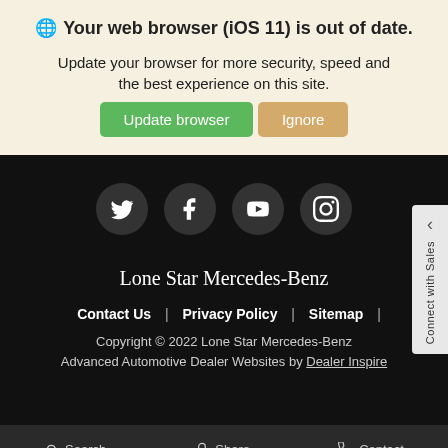🌐 Your web browser (iOS 11) is out of date.
Update your browser for more security, speed and the best experience on this site.
Update browser | Ignore
[Figure (screenshot): Social media icons: Twitter, Facebook, YouTube, Instagram on dark background]
Lone Star Mercedes-Benz
Contact Us | Privacy Policy | Sitemap |
Copyright © 2022 Lone Star Mercedes-Benz
Advanced Automotive Dealer Websites by Dealer Inspire
Search | Share | Contact